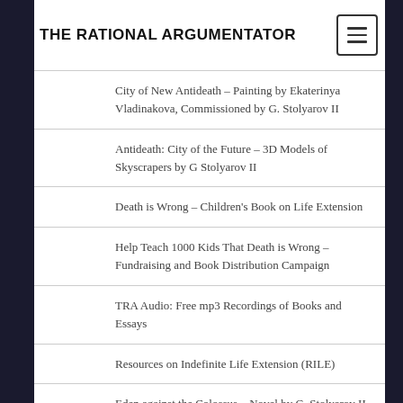THE RATIONAL ARGUMENTATOR
City of New Antideath – Painting by Ekaterinya Vladinakova, Commissioned by G. Stolyarov II
Antideath: City of the Future – 3D Models of Skyscrapers by G Stolyarov II
Death is Wrong – Children's Book on Life Extension
Help Teach 1000 Kids That Death is Wrong – Fundraising and Book Distribution Campaign
TRA Audio: Free mp3 Recordings of Books and Essays
Resources on Indefinite Life Extension (RILE)
Eden against the Colossus – Novel by G. Stolyarov II